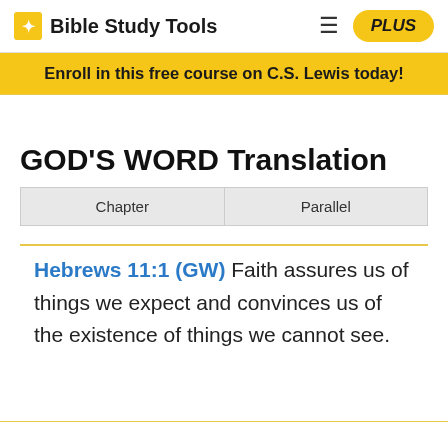Bible Study Tools | PLUS
Enroll in this free course on C.S. Lewis today!
GOD'S WORD Translation
| Chapter | Parallel |
| --- | --- |
Hebrews 11:1 (GW) Faith assures us of things we expect and convinces us of the existence of things we cannot see.